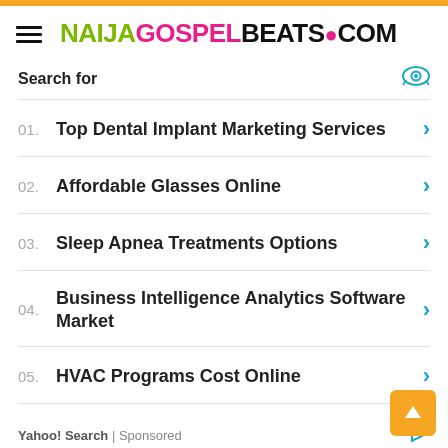NAIJAGOSPELBEATS.COM
Search for
01. Top Dental Implant Marketing Services
02. Affordable Glasses Online
03. Sleep Apnea Treatments Options
04. Business Intelligence Analytics Software Market
05. HVAC Programs Cost Online
Yahoo! Search | Sponsored